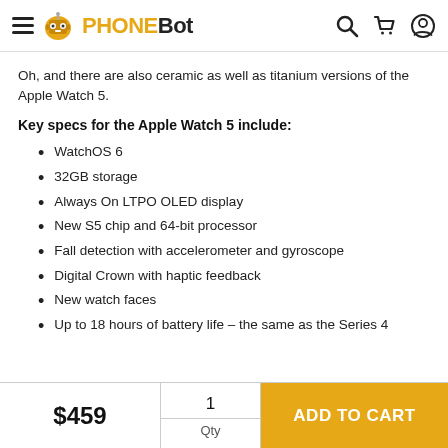PHONEBOT
Oh, and there are also ceramic as well as titanium versions of the Apple Watch 5.
Key specs for the Apple Watch 5 include:
WatchOS 6
32GB storage
Always On LTPO OLED display
New S5 chip and 64-bit processor
Fall detection with accelerometer and gyroscope
Digital Crown with haptic feedback
New watch faces
Up to 18 hours of battery life – the same as the Series 4